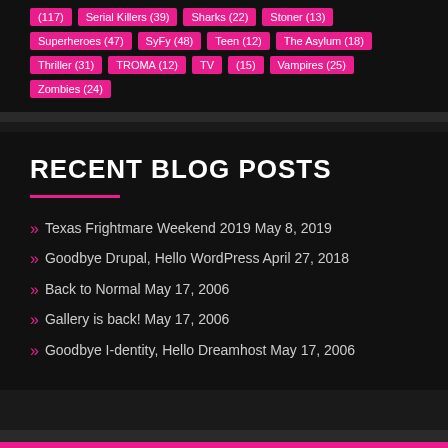(117) Serial Killers (39) Sharks (22) Stoner (13) Superheroes (47) SyFy (48) Teen (12) The Asylum (18) Thriller (31) TROMA (12) TV (15) Vampires (25) Zombies (24)
RECENT BLOG POSTS
Texas Frightmare Weekend 2019 May 8, 2019
Goodbye Drupal, Hello WordPress April 27, 2018
Back to Normal May 17, 2006
Gallery is back! May 17, 2006
Goodbye I-dentity, Hello Dreamhost May 17, 2006